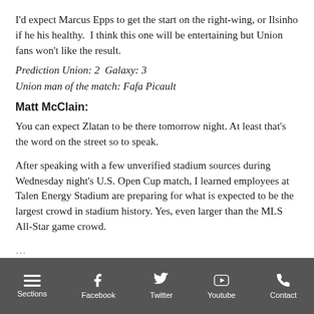I'd expect Marcus Epps to get the start on the right-wing, or Ilsinho if he his healthy.  I think this one will be entertaining but Union fans won't like the result.
Prediction Union: 2  Galaxy: 3
Union man of the match: Fafa Picault
Matt McClain:
You can expect Zlatan to be there tomorrow night. At least that's the word on the street so to speak.
After speaking with a few unverified stadium sources during Wednesday night's U.S. Open Cup match, I learned employees at Talen Energy Stadium are preparing for what is expected to be the largest crowd in stadium history. Yes, even larger than the MLS All-Star game crowd.
Sections | Facebook | Twitter | Youtube | Contact